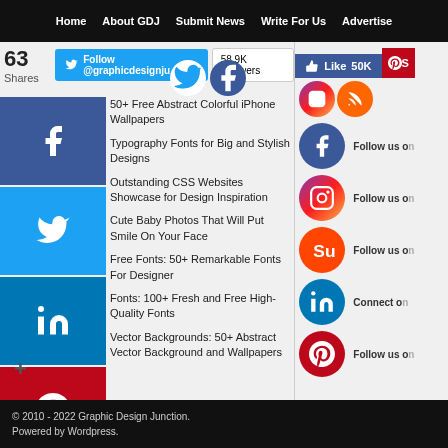Home | About GDJ | Submit News | Write For Us | Advertise
[Figure (screenshot): Social share bar with Twitter follow button showing @graphicdesignju and 58.9K followers, Facebook like button showing 50K]
63 Shares
50+ Free Abstract Colorful iPhone Wallpapers
Typography Fonts for Big and Stylish Designs
Outstanding CSS Websites Showcase for Design Inspiration
Cute Baby Photos That Will Put Smile On Your Face
Free Fonts: 50+ Remarkable Fonts For Designer
Fonts: 100+ Fresh and Free High-Quality Fonts
Vector Backgrounds: 50+ Abstract Vector Background and Wallpapers
Follow us on Facebook
Follow us on Instagram
Follow us on StumbleUpon
Connect on LinkedIn
Follow us on Pinterest
© 2010 - 2022 Graphic Design Junction.
Powered by Wordpress.